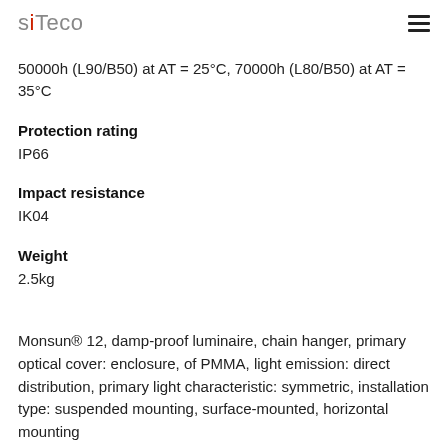siteco
50000h (L90/B50) at AT = 25°C, 70000h (L80/B50) at AT = 35°C
Protection rating
IP66
Impact resistance
IK04
Weight
2.5kg
Monsun® 12, damp-proof luminaire, chain hanger, primary optical cover: enclosure, of PMMA, light emission: direct distribution, primary light characteristic: symmetric, installation type: suspended mounting, surface-mounted, horizontal mounting